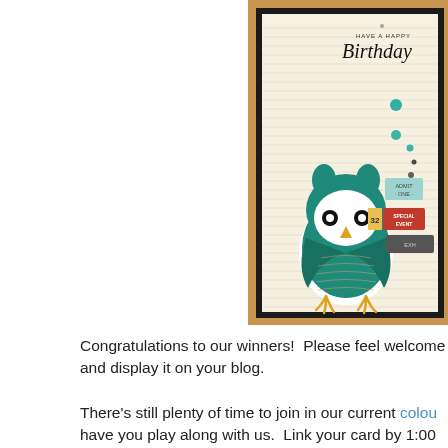[Figure (photo): A handmade birthday card featuring a cute teal owl sticker in the center on lined notebook paper background with a black frame and kraft paper border. The card reads 'HAVE A HAPPY Birthday' in the upper right. Various stamp embellishments including a red 'SPECIAL EVENT' stamp are visible to the right of the owl.]
Congratulations to our winners!  Please feel welcome and display it on your blog.
There's still plenty of time to join in our current colour have you play along with us.  Link your card by 1:00 p